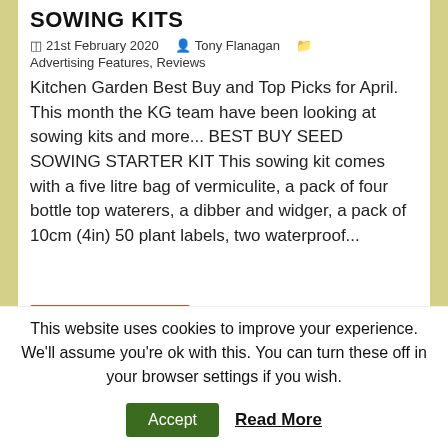SOWING KITS
21st February 2020   Tony Flanagan   Advertising Features, Reviews
Kitchen Garden Best Buy and Top Picks for April. This month the KG team have been looking at sowing kits and more... BEST BUY SEED SOWING STARTER KIT This sowing kit comes with a five litre bag of vermiculite, a pack of four bottle top waterers, a dibber and widger, a pack of 10cm (4in) 50 plant labels, two waterproof...
This website uses cookies to improve your experience. We'll assume you're ok with this. You can turn these off in your browser settings if you wish.
Accept   Read More